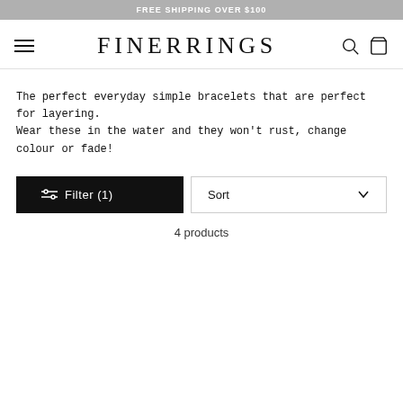FREE SHIPPING OVER $100
FINERRINGS
The perfect everyday simple bracelets that are perfect for layering. Wear these in the water and they won't rust, change colour or fade!
Filter (1)
Sort
4 products